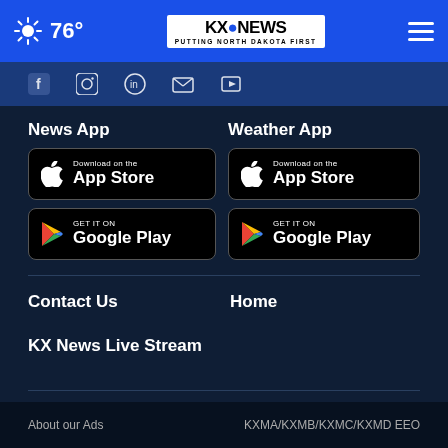76° KX News – Putting North Dakota First
[Figure (screenshot): Social media icons strip (Facebook, Instagram, and other platform icons)]
News App
[Figure (screenshot): Download on the App Store button (black)]
[Figure (screenshot): Get it on Google Play button (black)]
Weather App
[Figure (screenshot): Download on the App Store button (black)]
[Figure (screenshot): Get it on Google Play button (black)]
Contact Us
Home
KX News Live Stream
About our Ads    KXMA/KXMB/KXMC/KXMD EEO